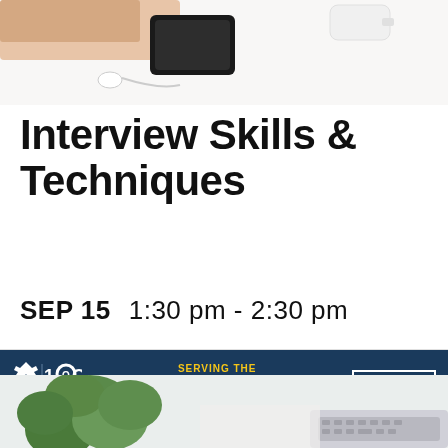[Figure (photo): Top portion of a flat-lay desk scene with a smartphone and earbuds on a white surface, hand visible at top left corner]
Interview Skills & Techniques
SEP 15   1:30 pm - 2:30 pm
[Figure (infographic): USAA advertisement banner with navy blue background. Logo shows USAA 100 stars. Text reads: SERVING THE MILITARY COMMUNITY for 100 years and counting. Button: Join us]
PAID ADVERTISEMENT. NO FEDERAL ENDORSEMENT IMPLIED.
[Figure (photo): Bottom portion of a desk scene showing a green plant and laptop keyboard on a light surface]